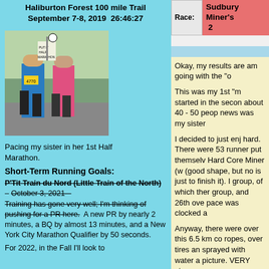Haliburton Forest 100 mile Trail September 7-8, 2019  26:46:27
[Figure (photo): Two runners on a road, one wearing bib number 4770 in a blue tank top, and one in a pink shirt, both running.]
Pacing my sister in her 1st Half Marathon.
Short-Term Running Goals:
P'Tit Train du Nord (Little Train of the North) – October 3, 2021 – Training has gone very well; I'm thinking of pushing for a PR here.  A new PR by nearly 2 minutes, a BQ by almost 13 minutes, and a New York City Marathon Qualifier by 50 seconds.
For 2022, in the Fall I'll look to
Race: Sudbury Miner's 2
Okay, my results are am going with the "o
This was my 1st "m started in the secon about 40 - 50 peop news was my sister
I decided to just enj hard. There were 53 runner put themselv Hard Core Miner (w (good shape, but no is just to finish it). I  group, of which ther group, and 26th ove pace was clocked a
Anyway, there were over this 6.5 km co ropes, over tires an sprayed with water a picture. VERY steer